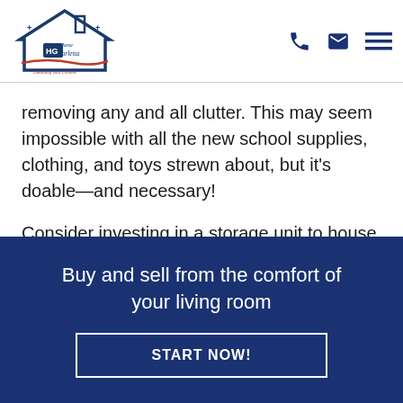Jane Barletta logo with phone, email, and menu icons
removing any and all clutter. This may seem impossible with all the new school supplies, clothing, and toys strewn about, but it's doable—and necessary!
Consider investing in a storage unit to house excess furniture, summer toys, and old clothing,
Buy and sell from the comfort of your living room
START NOW!